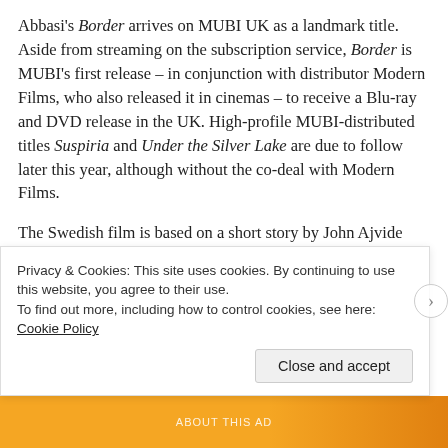Abbasi's Border arrives on MUBI UK as a landmark title. Aside from streaming on the subscription service, Border is MUBI's first release – in conjunction with distributor Modern Films, who also released it in cinemas – to receive a Blu-ray and DVD release in the UK. High-profile MUBI-distributed titles Suspiria and Under the Silver Lake are due to follow later this year, although without the co-deal with Modern Films.
The Swedish film is based on a short story by John Ajvide Lindqvist (Let the Right One In), who co-wrote the film's screenplay with Abbasi and Isabella Eklöf. A curious blend of romance, fantasy, realism and magical realism, Border sees Tina (Eva Melander), a customs officer with the ability to smell fear,
Privacy & Cookies: This site uses cookies. By continuing to use this website, you agree to their use.
To find out more, including how to control cookies, see here: Cookie Policy
Close and accept